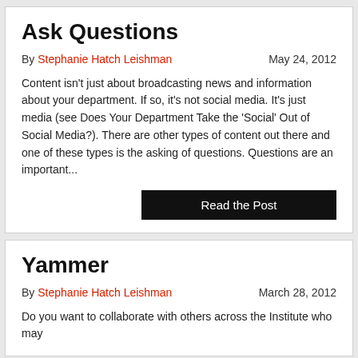Ask Questions
By Stephanie Hatch Leishman   May 24, 2012
Content isn't just about broadcasting news and information about your department. If so, it's not social media. It's just media (see Does Your Department Take the 'Social' Out of Social Media?). There are other types of content out there and one of these types is the asking of questions. Questions are an important...
Read the Post
Yammer
By Stephanie Hatch Leishman   March 28, 2012
Do you want to collaborate with others across the Institute who may